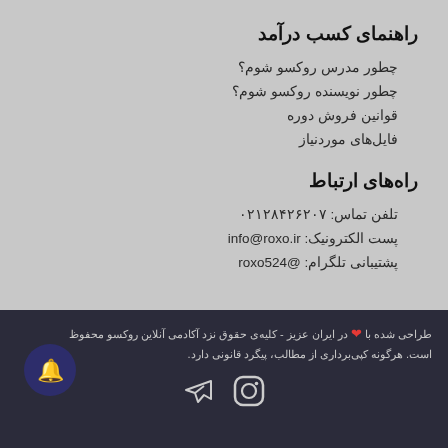راهنمای کسب درآمد
چطور مدرس روکسو شوم؟
چطور نویسنده روکسو شوم؟
قوانین فروش دوره
فایل‌های موردنیاز
راه‌های ارتباط
تلفن تماس: ۰۲۱۲۸۴۲۶۲۰۷
پست الکترونیک: info@roxo.ir
پشتیبانی تلگرام: @roxo524
طراحی شده با ❤ در ایران عزیز - کلیه‌ی حقوق نزد آکادمی آنلاین روکسو محفوظ است. هرگونه کپی‌برداری از مطالب، پیگرد قانونی دارد.